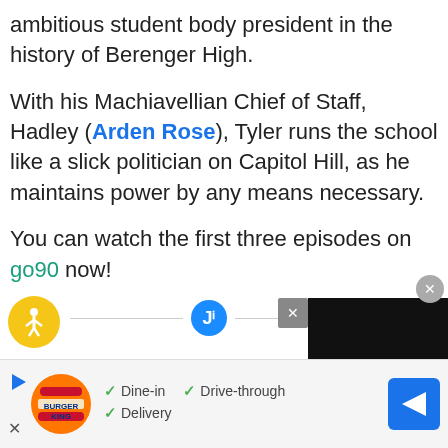ambitious student body president in the history of Berenger High.
With his Machiavellian Chief of Staff, Hadley (Arden Rose), Tyler runs the school like a slick politician on Capitol Hill, as he maintains power by any means necessary.
You can watch the first three episodes on go90 now!
[Figure (screenshot): Advertisement bar at bottom showing Burger King logo with checkmarks for Dine-in, Drive-through, and Delivery options, plus a navigation arrow icon]